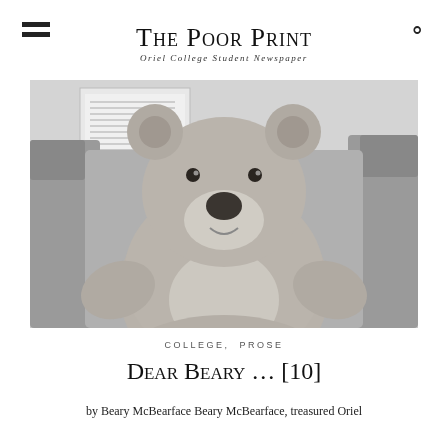The Poor Print
Oriel College Student Newspaper
[Figure (photo): Black and white photograph of a large teddy bear sitting in an armchair, with a notice board visible in the background.]
COLLEGE, PROSE
Dear Beary … [10]
by Beary McBearface Beary McBearface, treasured Oriel